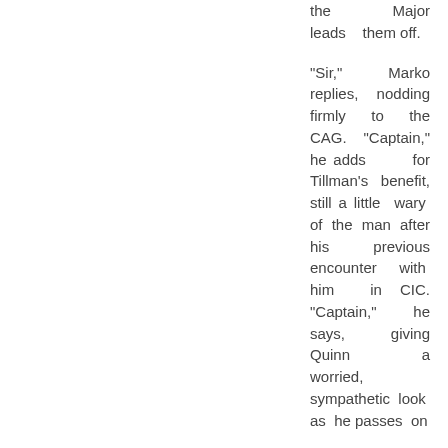the Major leads them off.
"Sir," Marko replies, nodding firmly to the CAG. "Captain," he adds for Tillman's benefit, still a little wary of the man after his previous encounter with him in CIC. "Captain," he says, giving Quinn a worried, sympathetic look as he passes on